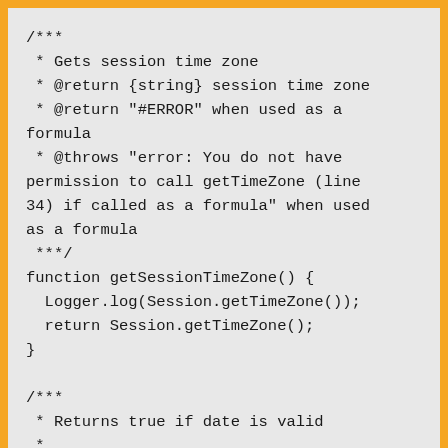/***
 * Gets session time zone
 * @return {string} session time zone
 * @return "#ERROR" when used as a formula
 * @throws "error: You do not have permission to call getTimeZone (line 34) if called as a formula" when used as a formula
 ***/
function getSessionTimeZone() {
  Logger.log(Session.getTimeZone());
  return Session.getTimeZone();
}

/***
 * Returns true if date is valid
 *
 http://stackoverflow.com/questions/1353684/detecting-an-invalid-date-date-